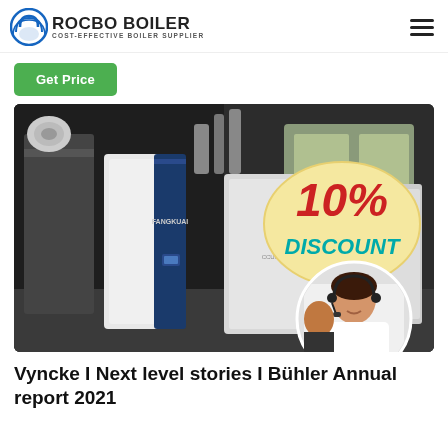ROCBO BOILER — COST-EFFECTIVE BOILER SUPPLIER
Get Price
[Figure (photo): Industrial boiler equipment (Fangkuai brand) in a factory setting with a 10% Discount badge overlay and a customer support agent photo inset]
Vyncke I Next level stories I Bühler Annual report 2021